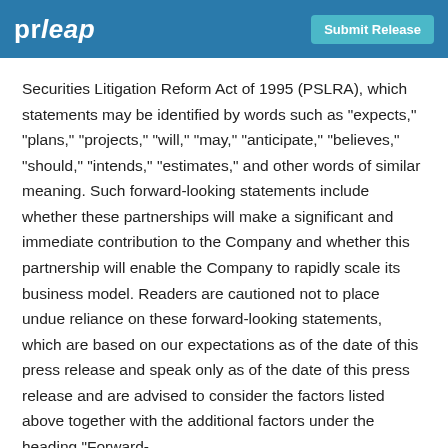prleap | Submit Release
Securities Litigation Reform Act of 1995 (PSLRA), which statements may be identified by words such as "expects," "plans," "projects," "will," "may," "anticipate," "believes," "should," "intends," "estimates," and other words of similar meaning. Such forward-looking statements include whether these partnerships will make a significant and immediate contribution to the Company and whether this partnership will enable the Company to rapidly scale its business model. Readers are cautioned not to place undue reliance on these forward-looking statements, which are based on our expectations as of the date of this press release and speak only as of the date of this press release and are advised to consider the factors listed above together with the additional factors under the heading "Forward-